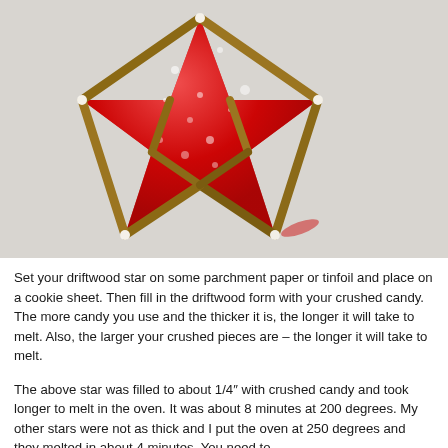[Figure (photo): A driftwood star shape filled with crushed red candy, placed on white parchment paper. The star is made from pieces of driftwood arranged in a star pattern, filled with bright red sugar crystals.]
Set your driftwood star on some parchment paper or tinfoil and place on a cookie sheet.  Then fill in the driftwood form with your crushed candy.  The more candy you use and the thicker it is, the longer it will take to melt.  Also, the larger your crushed pieces are – the longer it will take to melt.
The above star was filled to about 1/4″ with crushed candy and took longer to melt in the oven.  It was about 8 minutes at 200 degrees.  My other stars were not as thick and I put the oven at 250 degrees and they melted in about 4 minutes.  You need to